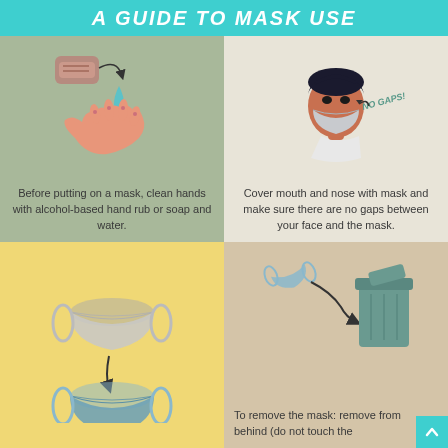A GUIDE TO MASK USE
[Figure (infographic): Illustration of soap bar and water droplet falling onto an open hand, depicting hand washing before putting on a mask.]
Before putting on a mask, clean hands with alcohol-based hand rub or soap and water.
[Figure (infographic): Illustration of a person wearing a mask properly with 'NO GAPS!' annotation and arrow showing mask fits snugly.]
Cover mouth and nose with mask and make sure there are no gaps between your face and the mask.
[Figure (infographic): Illustration of a dirty grey mask above with arrow pointing down to a fresh blue mask, showing mask replacement.]
[Figure (infographic): Illustration of a blue mask being thrown into a green trash bin, showing proper mask disposal.]
To remove the mask: remove from behind (do not touch the